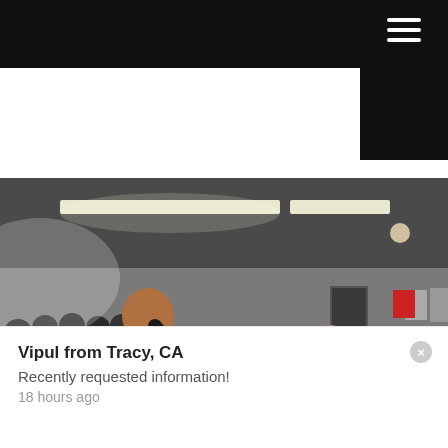[Figure (photo): Indoor martial arts class with children in black uniforms doing punching drills in a gym with gray walls, framed certificates, and fluorescent lighting. Adults watch from the side.]
Vipul from Tracy, CA
Recently requested information!
18 hours ago